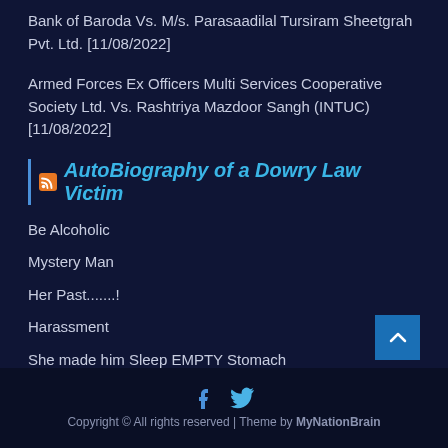Bank of Baroda Vs. M/s. Parasaadilal Tursiram Sheetgrah Pvt. Ltd. [11/08/2022]
Armed Forces Ex Officers Multi Services Cooperative Society Ltd. Vs. Rashtriya Mazdoor Sangh (INTUC) [11/08/2022]
AutoBiography of a Dowry Law Victim
Be Alcoholic
Mystery Man
Her Past.......!
Harassment
She made him Sleep EMPTY Stomach
Copyright © All rights reserved | Theme by MyNationBrain